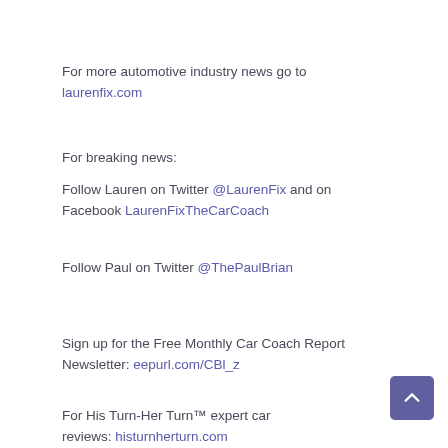For more automotive industry news go to laurenfix.com
For breaking news:
Follow Lauren on Twitter @LaurenFix and on Facebook LaurenFixTheCarCoach
Follow Paul on Twitter @ThePaulBrian
Sign up for the Free Monthly Car Coach Report Newsletter: eepurl.com/CBl_z
For His Turn-Her Turn™ expert car reviews: histurnherturn.com